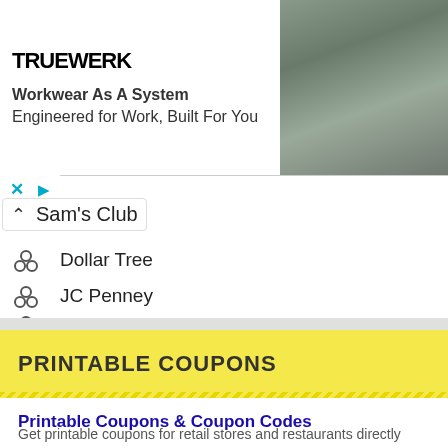[Figure (photo): TRUEWERK advertisement banner with logo on left, tagline text 'Workwear As A System / Engineered for Work, Built For You', and a photo of a worker on the right side]
Sam's Club
Dollar Tree
JC Penney
Big Lots
PRINTABLE COUPONS
Printable Coupons & Coupon Codes
Get printable coupons for retail stores and restaurants directly from your computer and save money. Some coupons can be printed instantly while others are sent to you by mail. Many in